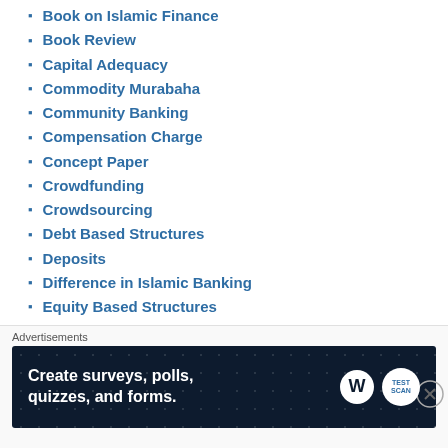Book on Islamic Finance
Book Review
Capital Adequacy
Commodity Murabaha
Community Banking
Compensation Charge
Concept Paper
Crowdfunding
Crowdsourcing
Debt Based Structures
Deposits
Difference in Islamic Banking
Equity Based Structures
fintech
Gharamah
Guidelines
Hibah
[Figure (screenshot): Advertisements banner: 'Create surveys, polls, quizzes, and forms.' with WordPress and TESCAN logos on dark background]